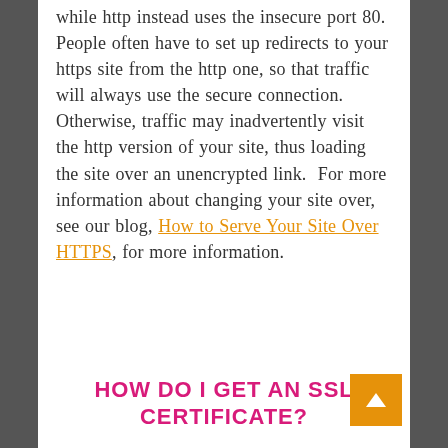while http instead uses the insecure port 80. People often have to set up redirects to your https site from the http one, so that traffic will always use the secure connection. Otherwise, traffic may inadvertently visit the http version of your site, thus loading the site over an unencrypted link. For more information about changing your site over, see our blog, How to Serve Your Site Over HTTPS, for more information.
HOW DO I GET AN SSL CERTIFICATE?